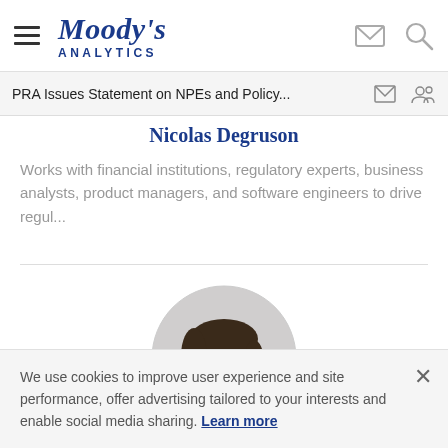Moody's Analytics
PRA Issues Statement on NPEs and Policy...
Nicolas Degruson
Works with financial institutions, regulatory experts, business analysts, product managers, and software engineers to drive regul...
[Figure (photo): Circular grayscale headshot photo of a woman with glasses and dark hair]
We use cookies to improve user experience and site performance, offer advertising tailored to your interests and enable social media sharing. Learn more